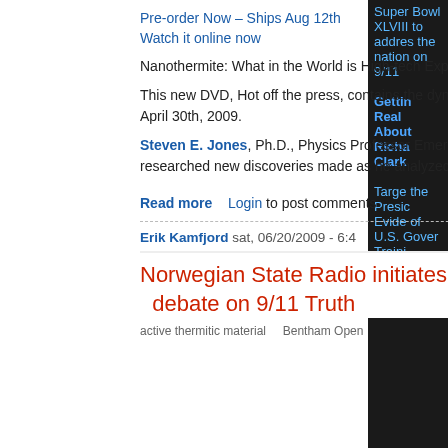Pre-order Now – Ships Aug 12th
Watch it online now
Nanothermite: What in the World is High-tech Explosive material Doing in the Dust Clouds Generated on 9/11/2001?
This new DVD, Hot off the press, contains the dynamic multimedia presentation given by Dr. Jones in Sacramento, CA on April 30th, 2009.
Steven E. Jones, Ph.D., Physics Professor Emeritus Brigham Young University, brilliantly presents his carefully researched new discoveries made as he analyzed the dust from the World Trade Center high-rises on 9/11.
Read more   Login to post comments
Erik Kamfjord sat, 06/20/2009 - 6:4
Norwegian State Radio initiates public debate on 9/11 Truth
active thermitic material   Bentham Open
Super Bowl XLVIII to address the nation on 9/11

Getting Real About Richard Clarke

Targeting the President Evidence of U.S. Government Training Exercises on